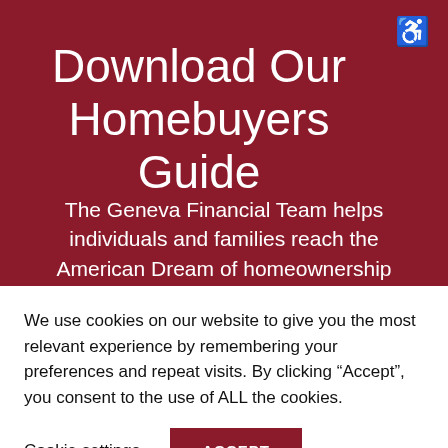Download Our Homebuyers Guide
The Geneva Financial Team helps individuals and families reach the American Dream of homeownership every day
We use cookies on our website to give you the most relevant experience by remembering your preferences and repeat visits. By clicking “Accept”, you consent to the use of ALL the cookies.
Cookie settings
ACCEPT